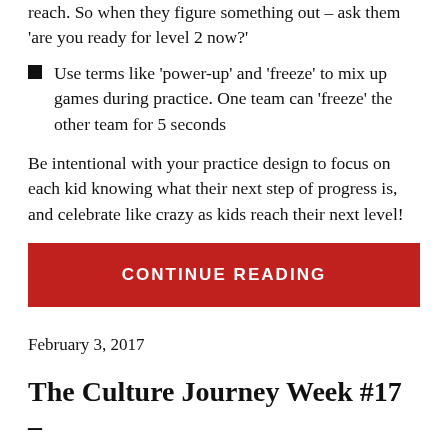reach. So when they figure something out – ask them 'are you ready for level 2 now?'
Use terms like 'power-up' and 'freeze' to mix up games during practice. One team can 'freeze' the other team for 5 seconds
Be intentional with your practice design to focus on each kid knowing what their next step of progress is, and celebrate like crazy as kids reach their next level!
CONTINUE READING
February 3, 2017
The Culture Journey Week #17 – What Makes A Good...